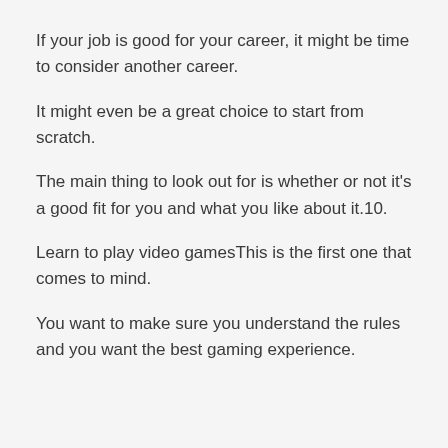If your job is good for your career, it might be time to consider another career.
It might even be a great choice to start from scratch.
The main thing to look out for is whether or not it's a good fit for you and what you like about it.10.
Learn to play video gamesThis is the first one that comes to mind.
You want to make sure you understand the rules and you want the best gaming experience.